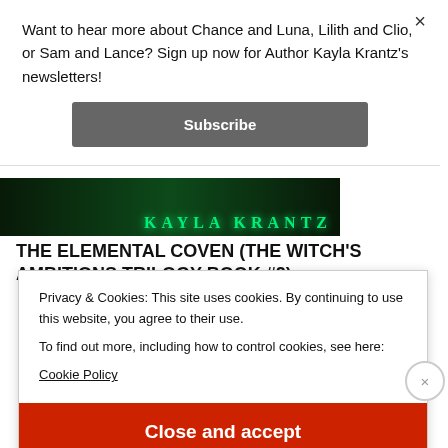Want to hear more about Chance and Luna, Lilith and Clio, or Sam and Lance? Sign up now for Author Kayla Krantz's newsletters!
Subscribe
[Figure (photo): Book cover image showing 'KAYLA KRANTZ' in glowing green text on dark background]
THE ELEMENTAL COVEN (THE WITCH'S AMBITIONS TRILOGY BOOK #2)
Privacy & Cookies: This site uses cookies. By continuing to use this website, you agree to their use.
To find out more, including how to control cookies, see here:
Cookie Policy
Close and accept